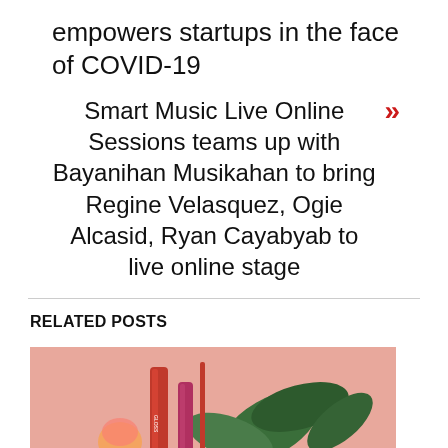empowers startups in the face of COVID-19
Smart Music Live Online Sessions teams up with Bayanihan Musikahan to bring Regine Velasquez, Ogie Alcasid, Ryan Cayabyab to live online stage
RELATED POSTS
[Figure (photo): Product photo of cosmetic items (lip gloss/lipstick tubes) on a pink background with green leaves]